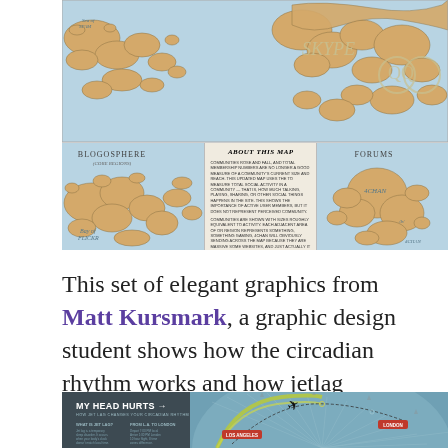[Figure (map): Map of internet geography showing regions labeled SKYPE and QQ, with landmasses styled as a fantasy-style world map on a blue background.]
[Figure (infographic): Three-panel strip: left panel shows 'BLOGOSPHERE' map region, center panel shows 'About This Map' text, right panel shows 'FORUMS' map region with 4CHAN label.]
This set of elegant graphics from Matt Kursmark, a graphic design student shows how the circadian rhythm works and how jetlag adversely affects it.
[Figure (infographic): Infographic titled 'MY HEAD HURTS: HOW JET LAG CHANGES YOUR CIRCADIAN RHYTHM' showing a circular diagram with flight path from Los Angeles to London, with arc chart on teal background.]